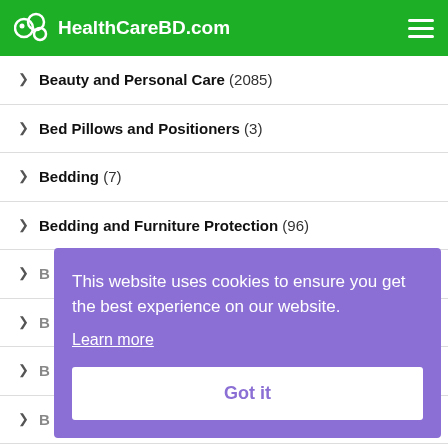HealthCareBD.com
Beauty and Personal Care (2085)
Bed Pillows and Positioners (3)
Bedding (7)
Bedding and Furniture Protection (96)
B...
B...
B...
B...
B...
Blood Pressure Monitors (3)
[Figure (screenshot): Cookie consent popup overlay with purple background. Text: 'This website uses cookies to ensure you get the best experience on our website. Learn more'. Button: 'Got it']